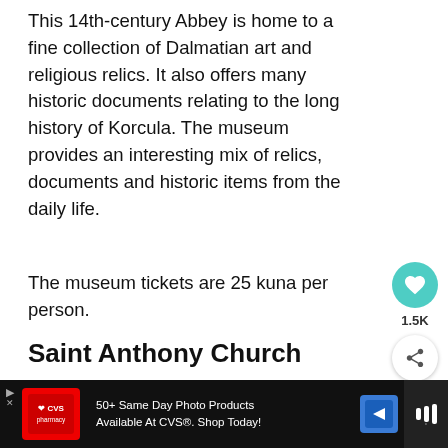This 14th-century Abbey is home to a fine collection of Dalmatian art and religious relics. It also offers many historic documents relating to the long history of Korcula. The museum provides an interesting mix of relics, documents and historic items from the daily life.
The museum tickets are 25 kuna per person.
Saint Anthony Church
[Figure (photo): Church bell tower with trees and blue sky]
[Figure (photo): What's Next thumbnail - The Best Things To D...]
[Figure (other): Advertisement banner: CVS Pharmacy - 50+ Same Day Photo Products Available At CVS®. Shop Today!]